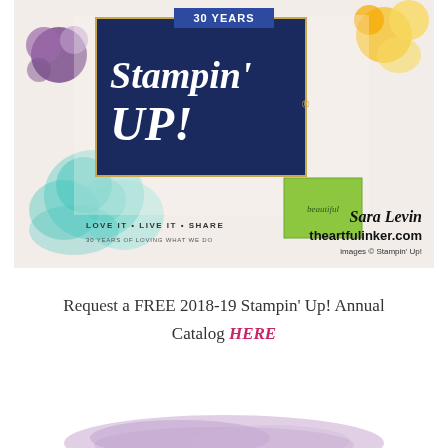[Figure (photo): Stampin' Up! 2018-19 Annual Catalog cover showing navy blue box with gold border, '30 YEARS' banner, 'Stampin' Up!' logo in white italic text, floral decorations in purple, teal/mint, and yellow, a green card bottom right. Watermark overlay reads 'Sara Levin theartfulinker.com images © Stampin' Up!']
Request a FREE 2018-19 Stampin' Up! Annual Catalog HERE